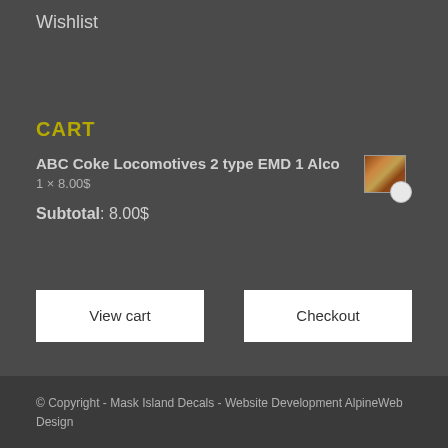Wishlist
CART
ABC Coke Locomotives 2 type EMD 1 Alco
1 × 8.00$
Subtotal: 8.00$
View cart
Checkout
© Copyright - Mask Island Decals - Website Development AlpineWeb Design